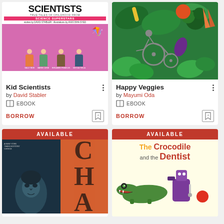[Figure (illustration): Kid Scientists book cover - children's book with cartoon scientists on pink background]
Kid Scientists
by David Stabler
EBOOK
BORROW
[Figure (illustration): Happy Veggies book cover - colorful vegetables and a wheelchair illustration on green background]
Happy Veggies
by Mayumi Oda
EBOOK
BORROW
[Figure (illustration): Book cover with AVAILABLE banner - dark teal portrait photo on left, orange background with CHA letters on right]
[Figure (illustration): The Crocodile and the Dentist book cover with AVAILABLE banner - children's book with cartoon crocodile and dentist]